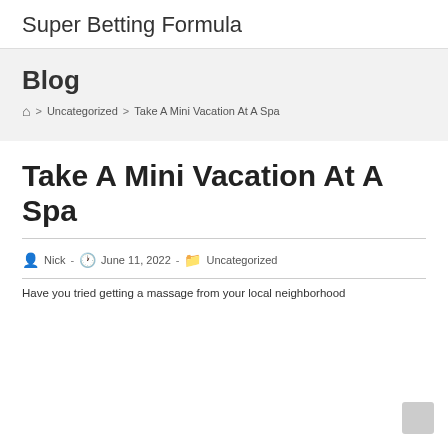Super Betting Formula
Blog
Home > Uncategorized > Take A Mini Vacation At A Spa
Take A Mini Vacation At A Spa
Post author: Nick  -  Post date: June 11, 2022  -  Post category: Uncategorized
Have you tried getting a massage from your local neighborhood